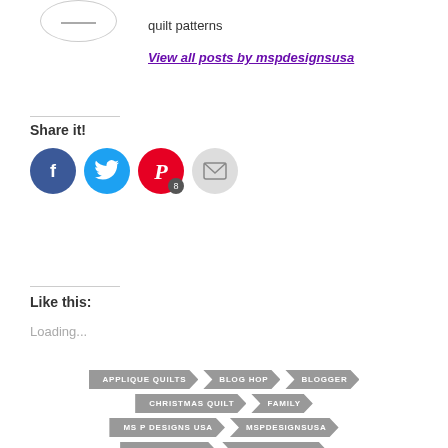quilt patterns
View all posts by mspdesignsusa
Share it!
[Figure (infographic): Social sharing icons: Facebook (blue circle), Twitter (cyan circle), Pinterest (red circle with badge '8'), Email (grey circle with envelope)]
Like this:
Loading...
APPLIQUE QUILTS
BLOG HOP
BLOGGER
CHRISTMAS QUILT
FAMILY
MS P DESIGNS USA
MSPDESIGNSUSA
PIECED QUILTS
WELCOME HOME
WHIMSICAL QUILT